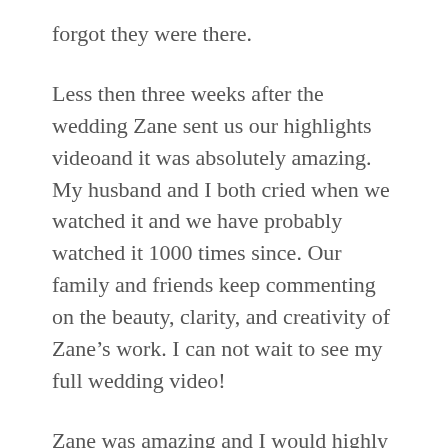forgot they were there.
Less then three weeks after the wedding Zane sent us our highlights videoand it was absolutely amazing. My husband and I both cried when we watched it and we have probably watched it 1000 times since. Our family and friends keep commenting on the beauty, clarity, and creativity of Zane’s work. I can not wait to see my full wedding video!
Zane was amazing and I would highly recommend her to everyone. Her style is beautiful, soft, and creative and her team became my guests that lightest the